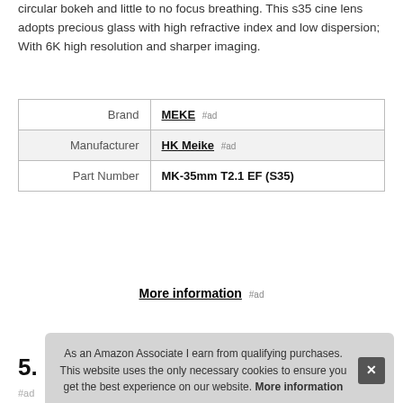circular bokeh and little to no focus breathing. This s35 cine lens adopts precious glass with high refractive index and low dispersion; With 6K high resolution and sharper imaging.
| Brand | MEKE #ad |
| Manufacturer | HK Meike #ad |
| Part Number | MK-35mm T2.1 EF (S35) |
More information #ad
As an Amazon Associate I earn from qualifying purchases. This website uses the only necessary cookies to ensure you get the best experience on our website. More information
5.
#ad